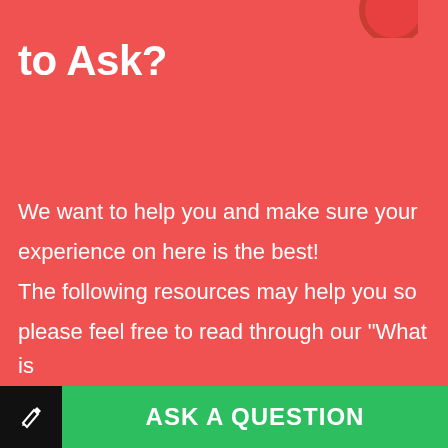[Figure (illustration): Partial red circular icon visible at top right corner of the page]
to Ask?
We want to help you and make sure your experience on here is the best! The following resources may help you so please feel free to read through our "What is affiliate marketing" Wiki and ask any questions you may have.
ASK A QUESTION